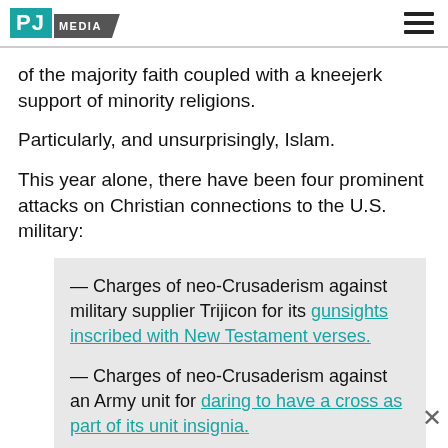PJ MEDIA
of the majority faith coupled with a kneejerk support of minority religions.
Particularly, and unsurprisingly, Islam.
This year alone, there have been four prominent attacks on Christian connections to the U.S. military:
— Charges of neo-Crusaderism against military supplier Trijicon for its gunsights inscribed with New Testament verses.
— Charges of neo-Crusaderism against an Army unit for daring to have a cross as part of its unit insignia.
— The branding as “a hate crime” the